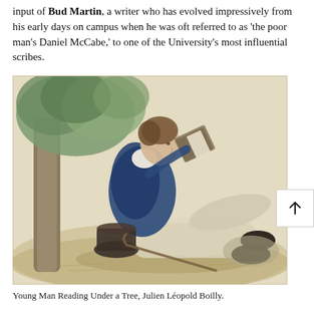input of Bud Martin, a writer who has evolved impressively from his early days on campus when he was oft referred to as 'the poor man's Daniel McCabe,' to one of the University's most influential scribes.
[Figure (illustration): A watercolor illustration titled 'Young Man Reading Under a Tree' by Julien Léopold Boilly. A young man in a blue coat and light trousers sits reclined against a tree trunk, reading a book. His top hat and a walking cane rest on the ground beside him.]
Young Man Reading Under a Tree, Julien Léopold Boilly.